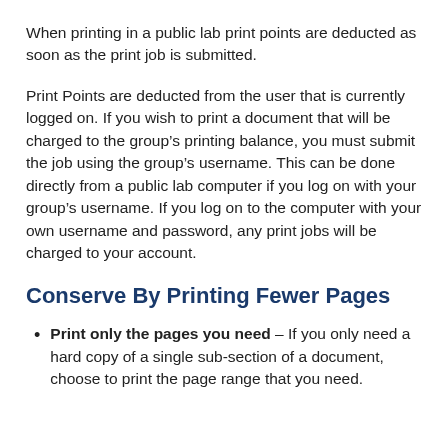When printing in a public lab print points are deducted as soon as the print job is submitted.
Print Points are deducted from the user that is currently logged on. If you wish to print a document that will be charged to the group’s printing balance, you must submit the job using the group’s username. This can be done directly from a public lab computer if you log on with your group’s username. If you log on to the computer with your own username and password, any print jobs will be charged to your account.
Conserve By Printing Fewer Pages
Print only the pages you need – If you only need a hard copy of a single sub-section of a document, choose to print the page range that you need.